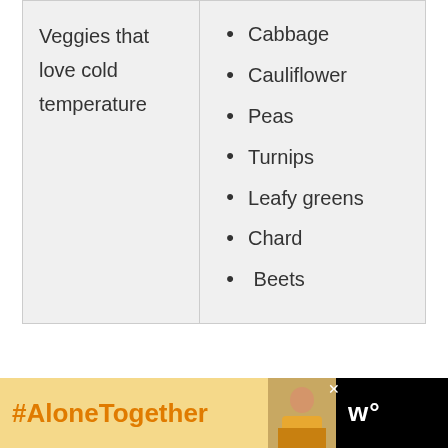| Veggies that love cold temperature | Cabbage
Cauliflower
Peas
Turnips
Leafy greens
Chard
Beets |
[Figure (other): Advertisement banner at bottom of page with black background. Left portion is a yellow/gold box containing bold orange text '#AloneTogether'. Center shows a photo of a woman at a desk. Right side shows a white logo on black background resembling 'w°'. A close/X button is visible.]